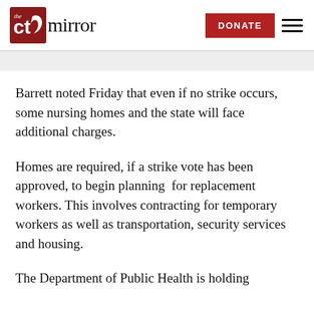The CT Mirror — DONATE
Barrett noted Friday that even if no strike occurs, some nursing homes and the state will face additional charges.
Homes are required, if a strike vote has been approved, to begin planning  for replacement workers. This involves contracting for temporary workers as well as transportation, security services and housing.
The Department of Public Health is holding